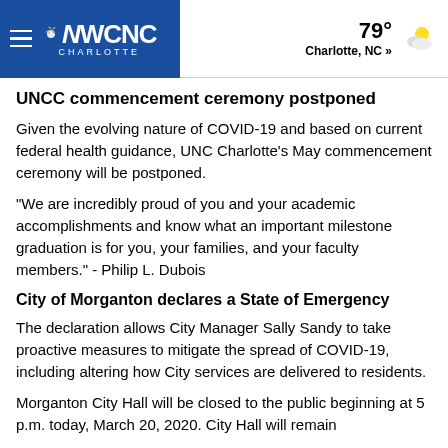WCNC Charlotte | 79° Charlotte, NC »
UNCC commencement ceremony postponed
Given the evolving nature of COVID-19 and based on current federal health guidance, UNC Charlotte's May commencement ceremony will be postponed.
"We are incredibly proud of you and your academic accomplishments and know what an important milestone graduation is for you, your families, and your faculty members." - Philip L. Dubois
City of Morganton declares a State of Emergency
The declaration allows City Manager Sally Sandy to take proactive measures to mitigate the spread of COVID-19, including altering how City services are delivered to residents.
Morganton City Hall will be closed to the public beginning at 5 p.m. today, March 20, 2020. City Hall will remain